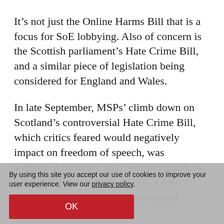It’s not just the Online Harms Bill that is a focus for SoE lobbying. Also of concern is the Scottish parliament’s Hate Crime Bill, and a similar piece of legislation being considered for England and Wales.
In late September, MSPs’ climb down on Scotland’s controversial Hate Crime Bill, which critics feared would negatively impact on freedom of speech, was welcomed by many. Yet, SoE was quick to point out, concerns that the bill’s free speech provisions are still inadequate
By using this site you accept our use of cookies to improve your user experience. View our privacy policy.
OK